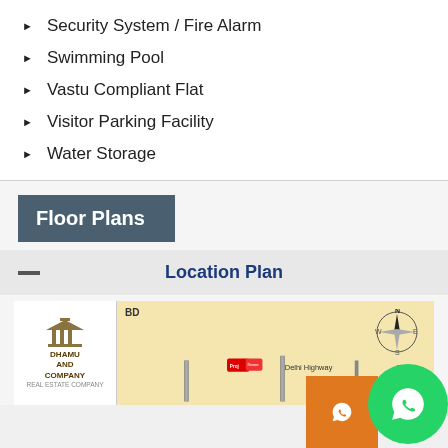Security System / Fire Alarm
Swimming Pool
Vastu Compliant Flat
Visitor Parking Facility
Water Storage
Floor Plans
— Location Plan
[Figure (map): Location plan map showing Dhamu and Company Real Estate logo on left, map with compass rose (N/S/E/W), Delhi Highway label, and roads/markers.]